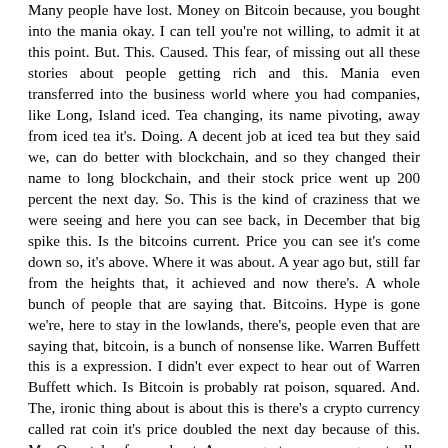Many people have lost. Money on Bitcoin because, you bought into the mania okay. I can tell you're not willing, to admit it at this point. But. This. Caused. This fear, of missing out all these stories about people getting rich and this. Mania even transferred into the business world where you had companies, like Long, Island iced. Tea changing, its name pivoting, away from iced tea it's. Doing. A decent job at iced tea but they said we, can do better with blockchain, and so they changed their name to long blockchain, and their stock price went up 200 percent the next day. So. This is the kind of craziness that we were seeing and here you can see back, in December that big spike this. Is the bitcoins current. Price you can see it's come down so, it's above. Where it was about. A year ago but, still far from the heights that, it achieved and now there's. A whole bunch of people that are saying that. Bitcoins. Hype is gone we're, here to stay in the lowlands, there's, people even that are saying that, bitcoin, is a bunch of nonsense like. Warren Buffett this is a expression. I didn't ever expect to hear out of Warren Buffett which. Is Bitcoin is probably rat poison, squared. And. The, ironic thing about is about this is there's a crypto currency called rat coin it's price doubled the next day because of this. My. Own tale of woe about. A year, ago two, years ago actually I decided. To experiment with cryptocurrency I didn't, know anything about it but I wanted to learn about blockchain, and cryptocurrency and so I placed. Modest, investments. In Bitcoin. And another cryptocurrency, called a theory and we'll talk about later 50, dollars in each this. Was in July it. Actually had reached over five thousand dollars my $50, had translated into five thousand, last, December, here's where it was in July atheria. Didn't crash quite as hard as Bitcoin then but I checked, this, morning and, here. It is so. I can't, even buy an iPhone 10s now with this. So. Where did Bitcoin come from you. Might have heard of a person named Satoshi Nakamoto. It's a very. Elusive figure nobody knows exactly who this is or if even if it's a real single, person or an organization there's. All sorts of conspiracy theories but. Because, this paper was published